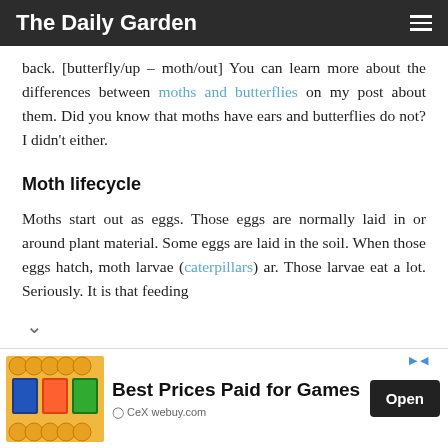The Daily Garden
back. [butterfly/up – moth/out] You can learn more about the differences between moths and butterflies on my post about them. Did you know that moths have ears and butterflies do not? I didn't either.
Moth lifecycle
Moths start out as eggs. Those eggs are normally laid in or around plant material. Some eggs are laid in the soil. When those eggs hatch, moth larvae (caterpillars) ar. Those larvae eat a lot. Seriously. It is that feeding
[Figure (infographic): Advertisement for CeX webuy.com - Best Prices Paid for Games with an Open button]